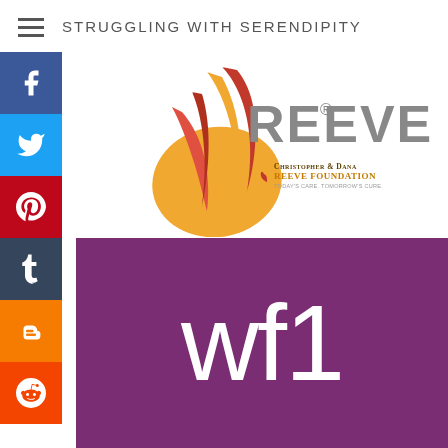STRUGGLING WITH SERENDIPITY
[Figure (logo): Christopher & Dana Reeve Foundation logo with flame and ribbon graphic and text 'REEVE' with registered trademark symbol]
[Figure (logo): Purple square with white 'wf1' text in large thin font]